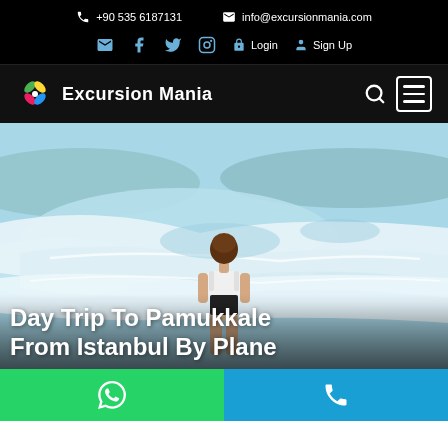+90 535 6187131  info@excursionmania.com
Login  Sign Up
Excursion Mania
[Figure (photo): Woman in white top standing at Pamukkale travertine terraces with turquoise water pools and white mineral formations, viewed from behind]
Day Trip To Pamukkale From Istanbul By Plane